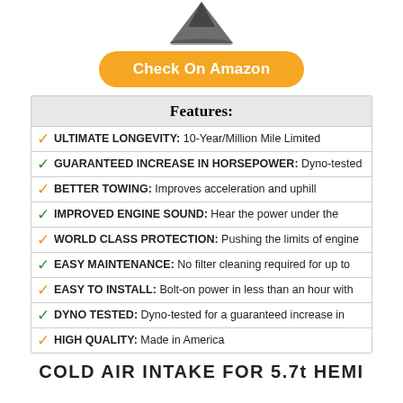[Figure (illustration): Partial view of a product (funnel/intake component) shown from above against white background]
Check On Amazon
Features:
ULTIMATE LONGEVITY: 10-Year/Million Mile Limited
GUARANTEED INCREASE IN HORSEPOWER: Dyno-tested
BETTER TOWING: Improves acceleration and uphill
IMPROVED ENGINE SOUND: Hear the power under the
WORLD CLASS PROTECTION: Pushing the limits of engine
EASY MAINTENANCE: No filter cleaning required for up to
EASY TO INSTALL: Bolt-on power in less than an hour with
DYNO TESTED: Dyno-tested for a guaranteed increase in
HIGH QUALITY: Made in America
COLD AIR INTAKE FOR 5.7t HEMI